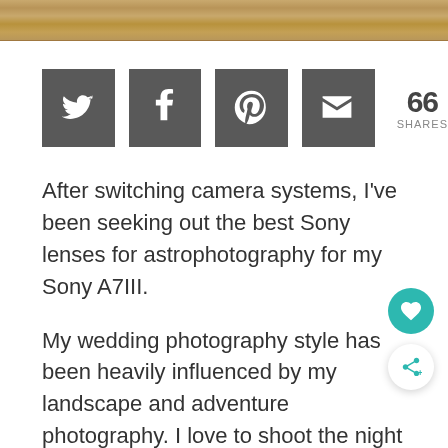[Figure (photo): Wood grain texture strip at top of page]
[Figure (infographic): Social share buttons: Twitter, Facebook, Pinterest, Email icons in dark grey squares, with count 66 SHARES]
After switching camera systems, I've been seeking out the best Sony lenses for astrophotography for my Sony A7III.
My wedding photography style has been heavily influenced by my landscape and adventure photography. I love to shoot the night sky, especially with a wedding couple.
S... (partial text cut off at bottom)